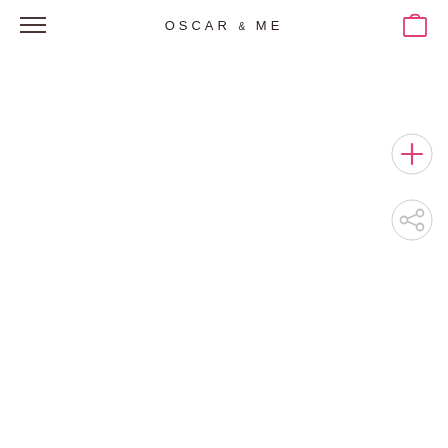[Figure (logo): Oscar & Me brand logo text in uppercase spaced letters]
[Figure (other): Hamburger menu icon (three horizontal lines) on the left of the header]
[Figure (other): Shopping bag/cart icon on the right of the header]
[Figure (other): Pink circular plus (+) button for add action, floating on right side]
[Figure (other): Pink circular share icon button, floating on right side below plus button]